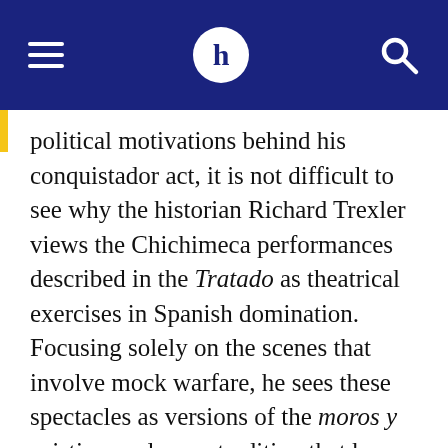H
political motivations behind his conquistador act, it is not difficult to see why the historian Richard Trexler views the Chichimeca performances described in the Tratado as theatrical exercises in Spanish domination. Focusing solely on the scenes that involve mock warfare, he sees these spectacles as versions of the moros y cristianos plays, a tradition that he condemns as "a crafted ethnography of manners, clothes, and other customs intended by its clerical stage managers to recall past native humiliations, to create memories of present failures, both native and Iberian, and to project future images of these colonized